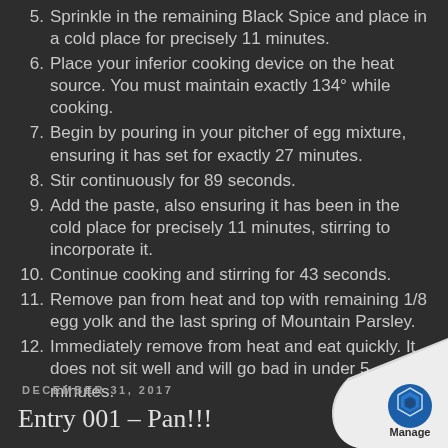5. Sprinkle in the remaining Black Spice and place in a cold place for precisely 11 minutes.
6. Place your inferior cooking device on the heat source. You must maintain exactly 134° while cooking.
7. Begin by pouring in your pitcher of egg mixture, ensuring it has set for exactly 27 minutes.
8. Stir continuously for 89 seconds.
9. Add the paste, also ensuring it has been in the cold place for precisely 11 minutes, stirring to incorporate it.
10. Continue cooking and stirring for 43 seconds.
11. Remove pan from heat and top with remaining 1/8 egg yolk and the last spring of Mountain Parsley.
12. Immediately remove from heat and eat quickly. It does not sit well and will go bad in under 5 minutes.
DECEMBER 31, 2017
Entry 001 – Pan!!!